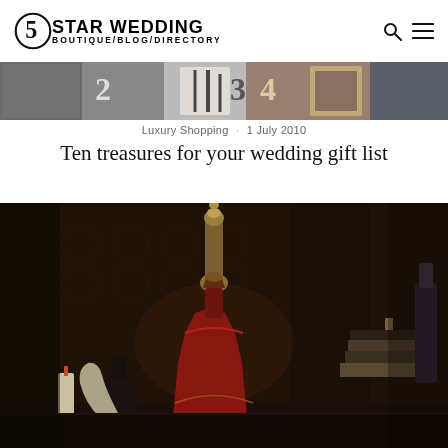5 STAR WEDDING BOUTIQUE/BLOG/DIRECTORY
[Figure (photo): Banner strip showing numbered collage of wedding-related images (numbered 2, 3, 4)]
Luxury Shopping · 1 July 2010
Ten treasures for your wedding gift list
[Figure (photo): Dark moody photo of luxury decanters and ornamental items on a table against a dark patterned background]